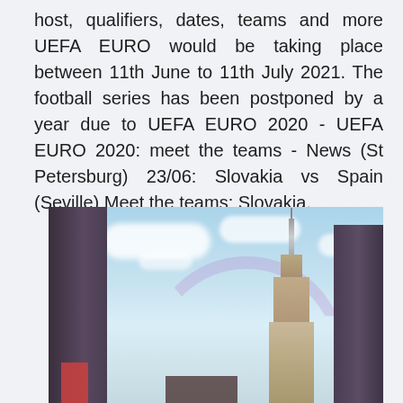host, qualifiers, dates, teams and more UEFA EURO would be taking place between 11th June to 11th July 2021. The football series has been postponed by a year due to UEFA EURO 2020 - UEFA EURO 2020: meet the teams - News (St Petersburg) 23/06: Slovakia vs Spain (Seville) Meet the teams: Slovakia.
[Figure (photo): A vintage-style photo of a city skyline featuring a tall spire building resembling the Empire State Building, flanked by dark buildings on either side, with a partly cloudy blue sky and a faint rainbow arc in the background.]